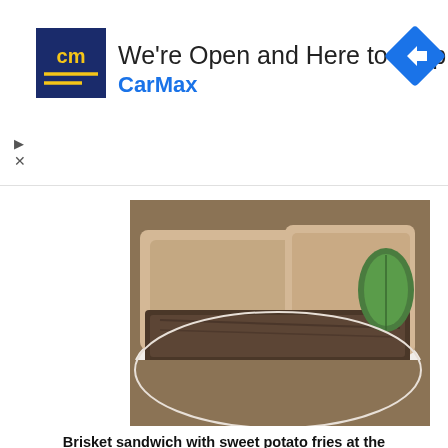[Figure (other): CarMax advertisement banner: 'We're Open and Here to Help' with CarMax logo and navigation icon]
[Figure (photo): Close-up photo of a brisket sandwich on white bread with a pickle on a white plate]
Brisket sandwich with sweet potato fries at the Blistered Pig Smokehouse in Apex- NC Triangle Dining
[Figure (photo): Photo of a BBQ sandwich with coleslaw on a bun, a bowl of black-eyed peas, and a small bowl of pickles on a white tray]